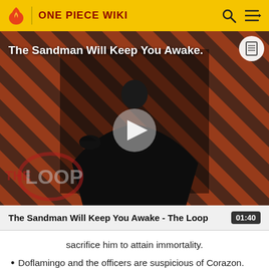ONE PIECE WIKI
[Figure (screenshot): Video thumbnail for 'The Sandman Will Keep You Awake - The Loop' showing a dark-cloaked figure against a red diagonal striped background with THE LOOP watermark and a play button in the center]
The Sandman Will Keep You Awake - The Loop  01:40
sacrifice him to attain immortality.
Doflamingo and the officers are suspicious of Corazon. They noticed how in the six months that he